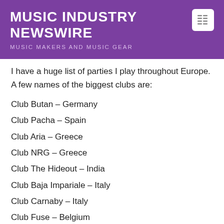MUSIC INDUSTRY NEWSWIRE
MUSIC MAKERS AND MUSIC GEAR
I have a huge list of parties I play throughout Europe. A few names of the biggest clubs are:
Club Butan – Germany
Club Pacha – Spain
Club Aria – Greece
Club NRG – Greece
Club The Hideout – India
Club Baja Impariale – Italy
Club Carnaby – Italy
Club Fuse – Belgium
Club Now & Wow – Holland
Club Las Palmas – Holland
Some of the events where I perform are: